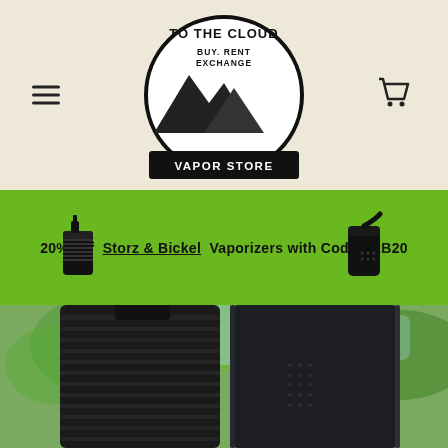To The Cloud Vapor Store — navigation header with logo, hamburger menu, and cart icon
20% Off Storz & Bickel Vaporizers with Code S&B20
[Figure (photo): Two black vaporizers (Crafty+ and Mighty) photographed outdoors against a blurred green tree background]